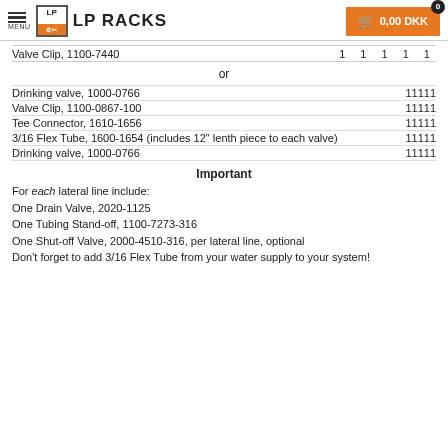LP RACKS — 0.00 DKK
Valve Clip, 1100-7440    1  1  1  1  1
or
Drinking valve, 1000-0766    11111
Valve Clip, 1100-0867-100    11111
Tee Connector, 1610-1656    11111
3/16 Flex Tube, 1600-1654 (includes 12" lenth piece to each valve)    11111
Drinking valve, 1000-0766    11111
Important
For each lateral line include:
One Drain Valve, 2020-1125
One Tubing Stand-off, 1100-7273-316
One Shut-off Valve, 2000-4510-316, per lateral line, optional
Don't forget to add 3/16 Flex Tube from your water supply to your system!